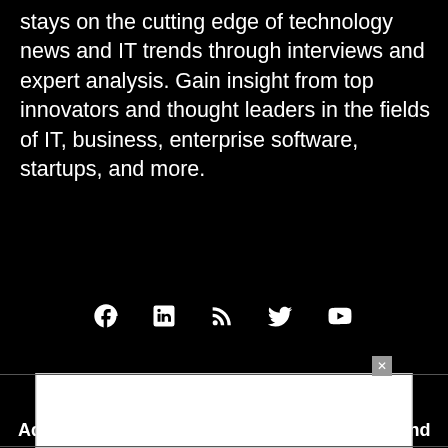stays on the cutting edge of technology news and IT trends through interviews and expert analysis. Gain insight from top innovators and thought leaders in the fields of IT, business, enterprise software, startups, and more.
[Figure (infographic): Social media icons row: Facebook, LinkedIn, RSS, Twitter, YouTube — white icons on black background]
ADVERTISERS
Advertise with TechnologyAdvice on eWeek and our other IT-focused platforms.
Advertise with Us >
[Figure (screenshot): White advertisement popup box with close X button in upper right corner]